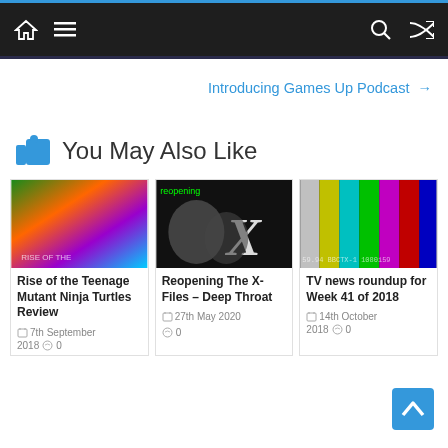Navigation bar with home, menu, search, and shuffle icons
Introducing Games Up Podcast →
👍 You May Also Like
[Figure (photo): Thumbnail image for Rise of the Teenage Mutant Ninja Turtles Review]
Rise of the Teenage Mutant Ninja Turtles Review
7th September 2018  0
[Figure (photo): Thumbnail image for Reopening The X-Files – Deep Throat]
Reopening The X-Files – Deep Throat
27th May 2020  0
[Figure (photo): Thumbnail image for TV news roundup for Week 41 of 2018]
TV news roundup for Week 41 of 2018
14th October 2018  0